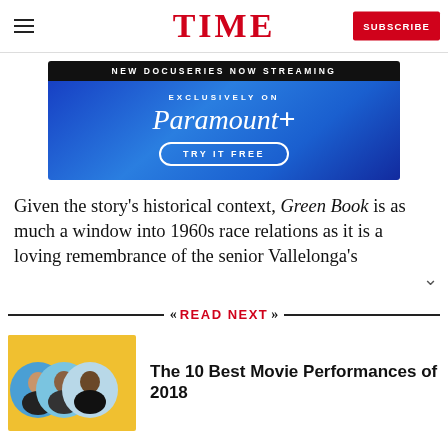TIME  SUBSCRIBE
[Figure (screenshot): Paramount+ advertisement banner: 'NEW DOCUSERIES NOW STREAMING — EXCLUSIVELY ON Paramount+ — TRY IT FREE']
Given the story's historical context, Green Book is as much a window into 1960s race relations as it is a loving remembrance of the senior Vallelonga's
READ NEXT
[Figure (photo): Thumbnail image with yellow background showing three actor headshots (circular) for 'The 10 Best Movie Performances of 2018']
The 10 Best Movie Performances of 2018